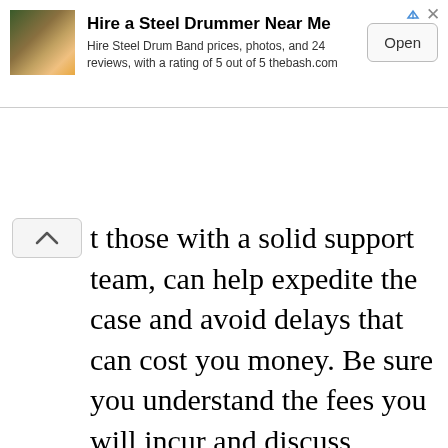[Figure (screenshot): Advertisement banner for 'Hire a Steel Drummer Near Me' from thebash.com with an image, title, description text, and an Open button.]
t those with a solid support team, can help expedite the case and avoid delays that can cost you money. Be sure you understand the fees you will incur and discuss payment options prior to making your selection.